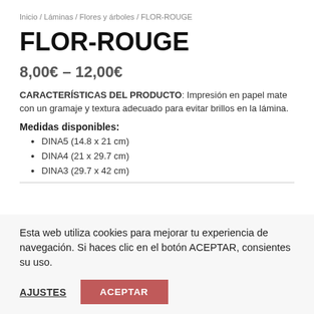Inicio / Láminas / Flores y árboles / FLOR-ROUGE
FLOR-ROUGE
8,00€ – 12,00€
CARACTERÍSTICAS DEL PRODUCTO: Impresión en papel mate con un gramaje y textura adecuado para evitar brillos en la lámina.
Medidas disponibles:
DINA5 (14.8 x 21 cm)
DINA4 (21 x 29.7 cm)
DINA3 (29.7 x 42 cm)
Esta web utiliza cookies para mejorar tu experiencia de navegación. Si haces clic en el botón ACEPTAR, consientes su uso.
AJUSTES  ACEPTAR